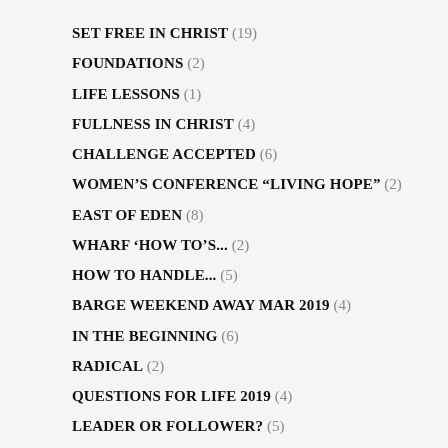SET FREE IN CHRIST (19)
FOUNDATIONS (2)
LIFE LESSONS (1)
FULLNESS IN CHRIST (4)
CHALLENGE ACCEPTED (6)
WOMEN'S CONFERENCE “LIVING HOPE” (2)
EAST OF EDEN (8)
WHARF ‘HOW TO’S... (2)
HOW TO HANDLE... (5)
BARGE WEEKEND AWAY MAR 2019 (4)
IN THE BEGINNING (6)
RADICAL (2)
QUESTIONS FOR LIFE 2019 (4)
LEADER OR FOLLOWER? (5)
ORIGINS (5)